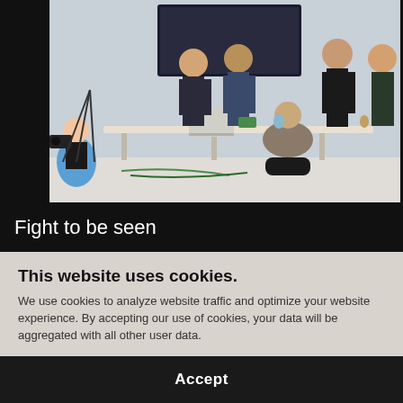[Figure (photo): Photo of people gathered around a table in a studio/office setting, with camera equipment visible on the left. Several people are seated and standing, engaged in discussion or filming activity.]
Fight to be seen
This website uses cookies.
We use cookies to analyze website traffic and optimize your website experience. By accepting our use of cookies, your data will be aggregated with all other user data.
Accept